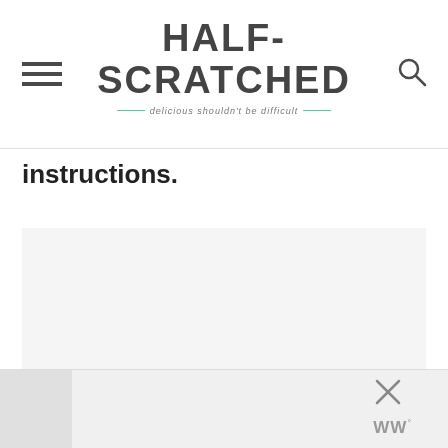HALF-SCRATCHED — delicious shouldn't be difficult
instructions.
[Figure (other): Large light gray image placeholder area with three small circle dots at center-bottom suggesting a loading or carousel indicator]
[Figure (other): Bottom advertisement bar with a close (X) button and WW logo with superscript degree symbol]